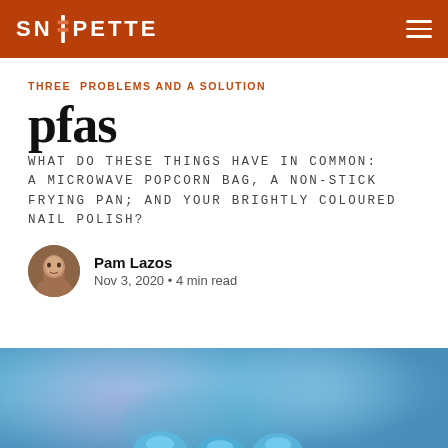SNIPETTE
THREE PROBLEMS AND A SOLUTION
pfas
WHAT DO THESE THINGS HAVE IN COMMON: A MICROWAVE POPCORN BAG, A NON-STICK FRYING PAN; AND YOUR BRIGHTLY COLOURED NAIL POLISH?
Pam Lazos
Nov 3, 2020 • 4 min read
[Figure (photo): Abstract blurred blue and purple image, partially showing what appears to be fingers or hands with blue nail polish at the bottom edge]